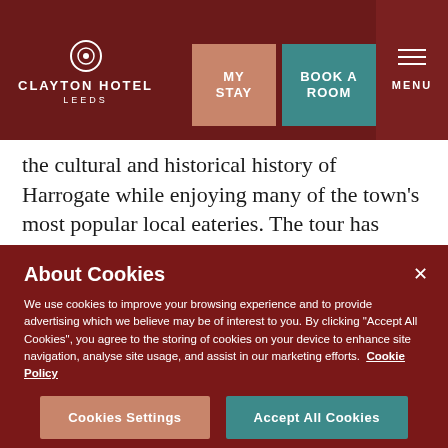CLAYTON HOTEL LEEDS — MY STAY | BOOK A ROOM | MENU
the cultural and historical history of Harrogate while enjoying many of the town's most popular local eateries. The tour has various stops depending on the day. Highlights include a visit to Hales Bar, a gas lit pub and the oldest pub in Harrogate, delicious modern Yorkshire dishes at Yorkshire Tapas and a trip to Farrah's to taste the famous
About Cookies
We use cookies to improve your browsing experience and to provide advertising which we believe may be of interest to you. By clicking "Accept All Cookies", you agree to the storing of cookies on your device to enhance site navigation, analyse site usage, and assist in our marketing efforts.  Cookie Policy
Cookies Settings    Accept All Cookies